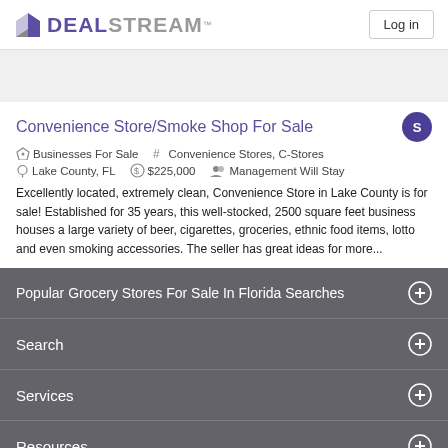DEALSTREAM™ — Log in
Convenience Store/Smoke Shop For Sale
Businesses For Sale  #  Convenience Stores, C-Stores  Lake County, FL  $225,000  Management Will Stay
Excellently located, extremely clean, Convenience Store in Lake County is for sale! Established for 35 years, this well-stocked, 2500 square feet business houses a large variety of beer, cigarettes, groceries, ethnic food items, lotto and even smoking accessories. The seller has great ideas for more...
Popular Grocery Stores For Sale In Florida Searches
Search
Services
Resources